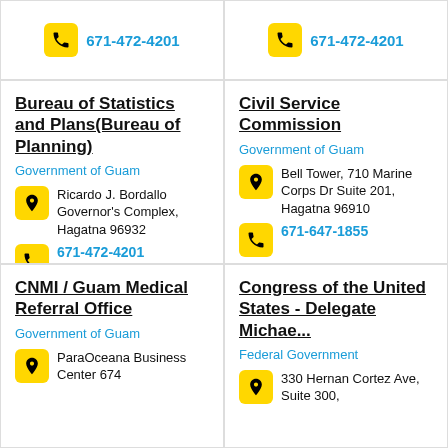671-472-4201 (top left strip, partial)
671-472-4201 (top right strip, partial)
Bureau of Statistics and Plans(Bureau of Planning)
Government of Guam
Ricardo J. Bordallo Governor's Complex, Hagatna 96932
671-472-4201
Civil Service Commission
Government of Guam
Bell Tower, 710 Marine Corps Dr Suite 201, Hagatna 96910
671-647-1855
CNMI / Guam Medical Referral Office
Government of Guam
ParaOceana Business Center 674
Congress of the United States - Delegate Michae...
Federal Government
330 Hernan Cortez Ave, Suite 300,